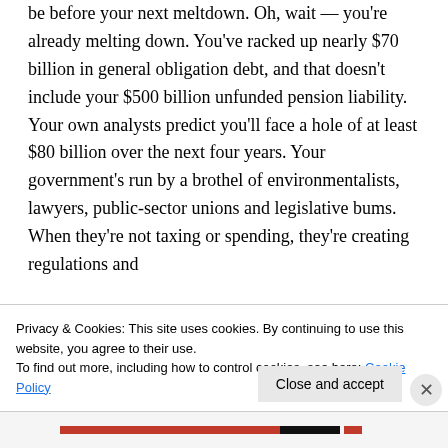be before your next meltdown. Oh, wait — you're already melting down. You've racked up nearly $70 billion in general obligation debt, and that doesn't include your $500 billion unfunded pension liability. Your own analysts predict you'll face a hole of at least $80 billion over the next four years. Your government's run by a brothel of environmentalists, lawyers, public-sector unions and legislative bums. When they're not taxing or spending, they're creating regulations and
Privacy & Cookies: This site uses cookies. By continuing to use this website, you agree to their use.
To find out more, including how to control cookies, see here: Cookie Policy